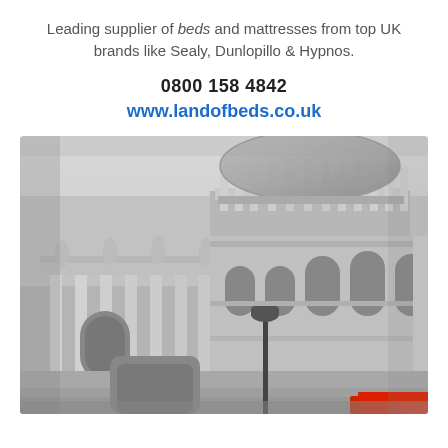Leading supplier of beds and mattresses from top UK brands like Sealy, Dunlopillo & Hypnos.
0800 158 4842
www.landofbeds.co.uk
[Figure (photo): Black and white photograph of St Paul's Cathedral in London, shot from a low angle showing the dome, columns, ornate stonework, statues, and a street lamp in the foreground with a red bus visible at the bottom right corner.]